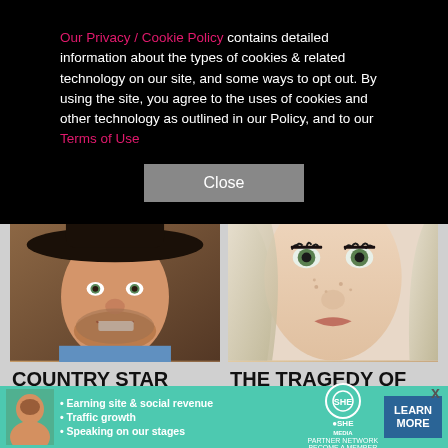Our Privacy / Cookie Policy contains detailed information about the types of cookies & related technology on our site, and some ways to opt out. By using the site, you agree to the uses of cookies and other technology as outlined in our Policy, and to our Terms of Use
[Figure (other): Close button for cookie consent dialog]
[Figure (photo): Photo of country star Luke Bell wearing a cowboy hat, mouth open]
COUNTRY STAR LUKE BELL CONFIRMED DEAD
[Figure (photo): Close-up photo of Jenna Jameson with blonde hair and dramatic eye makeup]
THE TRAGEDY OF JENNA JAMESON IS BEYOND
[Figure (infographic): SHE Partner Network advertisement banner with bullet points: Earning site & social revenue, Traffic growth, Speaking on our stages. Learn More button.]